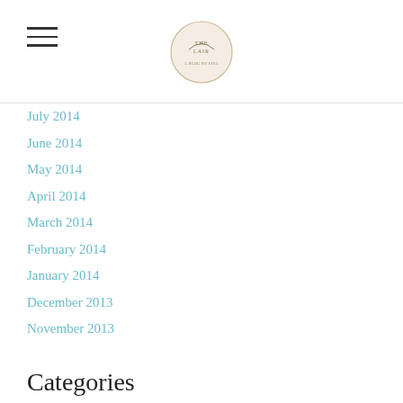[Logo: The Lair blog header with circular emblem and hamburger menu]
July 2014
June 2014
May 2014
April 2014
March 2014
February 2014
January 2014
December 2013
November 2013
Categories
All
2015
#30daysofselflove
5 Commandments Of Self Love
Acceptance